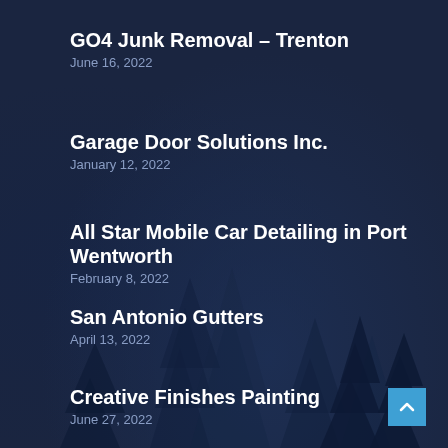GO4 Junk Removal – Trenton
June 16, 2022
Garage Door Solutions Inc.
January 12, 2022
All Star Mobile Car Detailing in Port Wentworth
February 8, 2022
San Antonio Gutters
April 13, 2022
Creative Finishes Painting
June 27, 2022